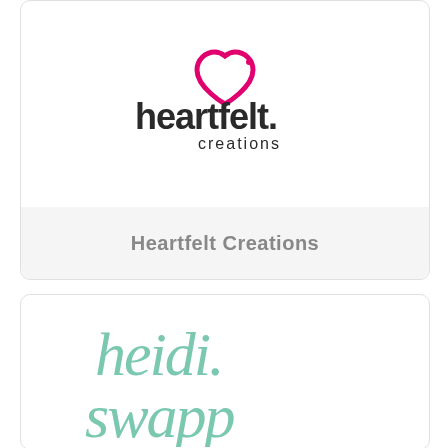[Figure (logo): Heartfelt Creations brand logo with pink heart outline and dark text]
Heartfelt Creations
[Figure (logo): Heidi Swapp brand logo in mint/teal cursive script handwriting style]